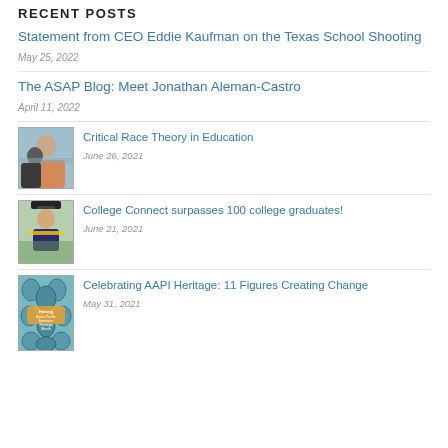RECENT POSTS
Statement from CEO Eddie Kaufman on the Texas School Shooting
May 25, 2022
The ASAP Blog: Meet Jonathan Aleman-Castro
April 11, 2022
[Figure (photo): Students at a whiteboard in a classroom]
Critical Race Theory in Education
June 26, 2021
[Figure (photo): Graduate in cap and gown outdoors]
College Connect surpasses 100 college graduates!
June 21, 2021
[Figure (illustration): AAPI Heritage Month illustrated poster with faces in teal tones]
Celebrating AAPI Heritage: 11 Figures Creating Change
May 31, 2021